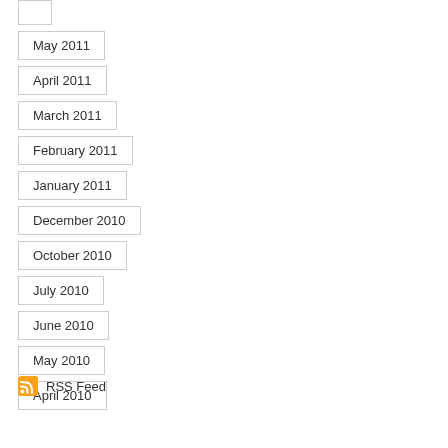May 2011
April 2011
March 2011
February 2011
January 2011
December 2010
October 2010
July 2010
June 2010
May 2010
April 2010
RSS Feed